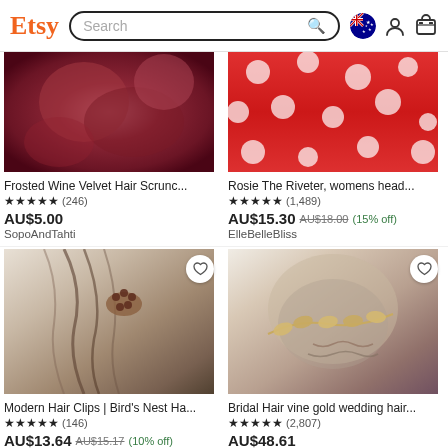Etsy Search
[Figure (screenshot): Top-left product image: Frosted Wine Velvet Hair Scrunchie - dark wine/rose tones]
Frosted Wine Velvet Hair Scrunc...
★★★★★ (246)
AU$5.00
SopoAndTahti
[Figure (screenshot): Top-right product image: Rosie The Riveter womens headband - red polka dot fabric]
Rosie The Riveter, womens head...
★★★★★ (1,489)
AU$15.30 AU$18.00 (15% off)
ElleBelleBliss
[Figure (screenshot): Bottom-left product image: Modern Hair Clips Bird's Nest Hair clip with heart button]
Modern Hair Clips | Bird's Nest Ha...
★★★★★ (146)
AU$13.64 AU$15.17 (10% off)
Ad by Revoluty
[Figure (screenshot): Bottom-right product image: Bridal Hair vine gold wedding hair piece with leaf details]
Bridal Hair vine gold wedding hair...
★★★★★ (2,807)
AU$48.61
Ad by BelleMichelleUSA